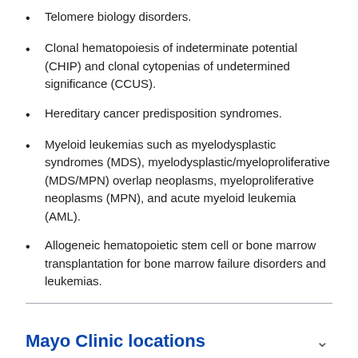Telomere biology disorders.
Clonal hematopoiesis of indeterminate potential (CHIP) and clonal cytopenias of undetermined significance (CCUS).
Hereditary cancer predisposition syndromes.
Myeloid leukemias such as myelodysplastic syndromes (MDS), myelodysplastic/myeloproliferative (MDS/MPN) overlap neoplasms, myeloproliferative neoplasms (MPN), and acute myeloid leukemia (AML).
Allogeneic hematopoietic stem cell or bone marrow transplantation for bone marrow failure disorders and leukemias.
Mayo Clinic locations